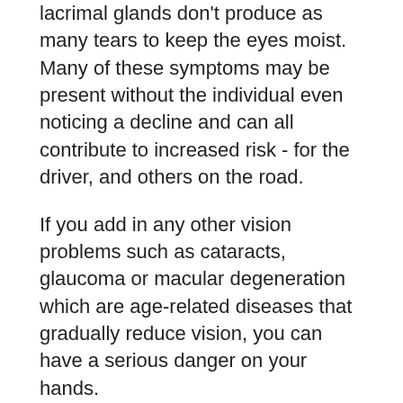become a bigger problem with age as the lacrimal glands don't produce as many tears to keep the eyes moist. Many of these symptoms may be present without the individual even noticing a decline and can all contribute to increased risk - for the driver, and others on the road.
If you add in any other vision problems such as cataracts, glaucoma or macular degeneration which are age-related diseases that gradually reduce vision, you can have a serious danger on your hands.
Avoid Distractions
The biggest driving distraction in our day and age is cell phone usage. While many states and provinces have created laws which forbid driving and texting or holding a phone, it is not universal,